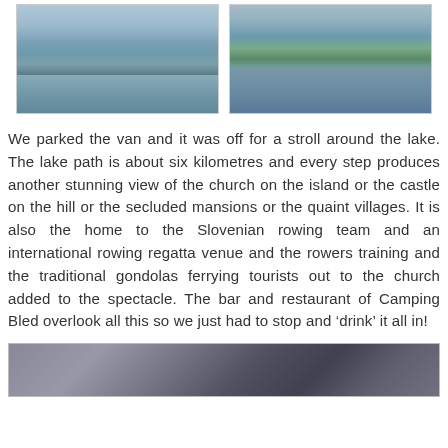[Figure (photo): Two side-by-side landscape photos of Lake Bled, Slovenia. Left photo shows the island church on the lake with mountains in the background. Right photo shows the castle on the hill with the lake and trees in the foreground.]
We parked the van and it was off for a stroll around the lake. The lake path is about six kilometres and every step produces another stunning view of the church on the island or the castle on the hill or the secluded mansions or the quaint villages. It is also the home to the Slovenian rowing team and an international rowing regatta venue and the rowers training and the traditional gondolas ferrying tourists out to the church added to the spectacle. The bar and restaurant of Camping Bled overlook all this so we just had to stop and ‘drink’ it all in!
[Figure (photo): Partial photo at the bottom of the page, appears to show a dark scene, possibly inside a vehicle or a dark landscape.]